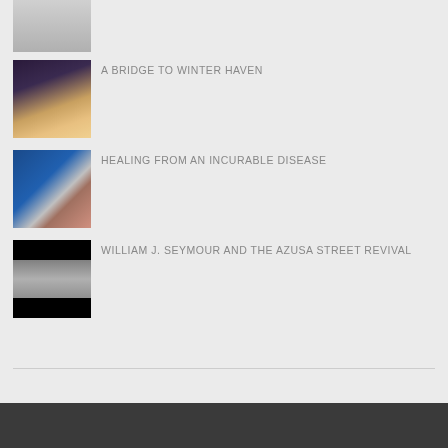[Figure (photo): Partial image of a person in white top, cropped at top]
A BRIDGE TO WINTER HAVEN
[Figure (photo): Two women posing together in a decorated setting with warm lighting]
HEALING FROM AN INCURABLE DISEASE
[Figure (photo): Older man speaking or presenting on a blue-lit stage]
WILLIAM J. SEYMOUR AND THE AZUSA STREET REVIVAL
[Figure (photo): Black and white image of a building with dark borders top and bottom]